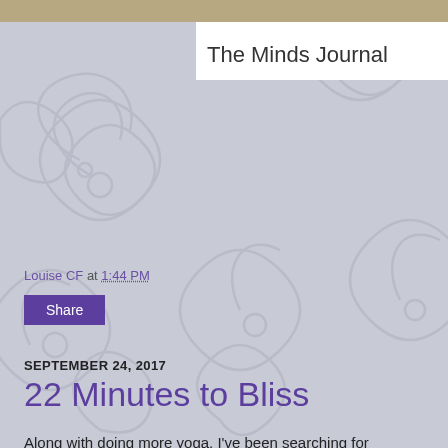[Figure (screenshot): Website header banner with decorative tan/beige pattern, partially visible at top of page]
The Minds Journal
Louise CF at 1:44 PM
Share
SEPTEMBER 24, 2017
22 Minutes to Bliss
Along with doing more yoga, I've been searching for meditations to help me relax and this one is really wonderful. It sent me right into slumber land.
I hope you are all well out there.
In love, peace and health,
Louise